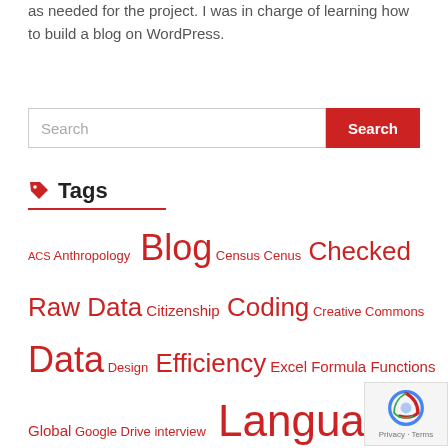as needed for the project. I was in charge of learning how to build a blog on WordPress.
Tags
ACS Anthropology Blog Census Cenus Checked Raw Data Citizenship Coding Creative Commons Data Design Efficiency Excel Formula Functions Global Google Drive interview Language Language Clouds Language death Language map Language Maps Latitude Linguistics Longitude Microsoft Excel North Note Cards Participant Participants Pivot Table Process Randomized I.D. Raw Data Semester synthesized speech Tableau technology Unchecked Raw Data Viewsh… voder Vowels WordPress